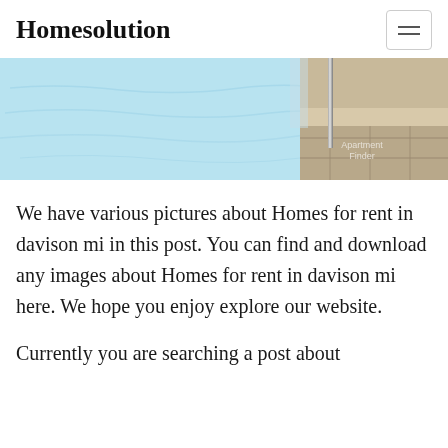Homesolution
[Figure (photo): A swimming pool edge with light blue water, a metal pole/railing, and stone tile decking. A watermark reading 'Apartment Finder' is visible in the lower right corner of the image.]
We have various pictures about Homes for rent in davison mi in this post. You can find and download any images about Homes for rent in davison mi here. We hope you enjoy explore our website.
Currently you are searching a post about